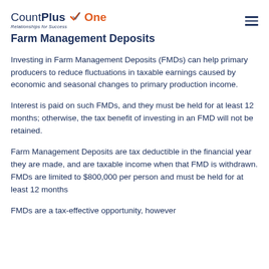CountPlus One — Relationships for Success
Farm Management Deposits
Investing in Farm Management Deposits (FMDs) can help primary producers to reduce fluctuations in taxable earnings caused by economic and seasonal changes to primary production income.
Interest is paid on such FMDs, and they must be held for at least 12 months; otherwise, the tax benefit of investing in an FMD will not be retained.
Farm Management Deposits are tax deductible in the financial year they are made, and are taxable income when that FMD is withdrawn. FMDs are limited to $800,000 per person and must be held for at least 12 months
FMDs are a tax-effective opportunity, however